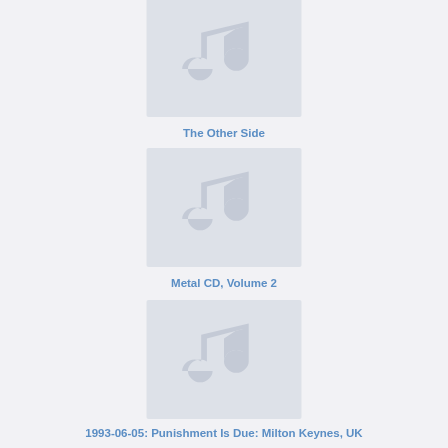[Figure (illustration): Music note placeholder thumbnail for album 'The Other Side']
The Other Side
[Figure (illustration): Music note placeholder thumbnail for album 'Metal CD, Volume 2']
Metal CD, Volume 2
[Figure (illustration): Music note placeholder thumbnail for album '1993-06-05: Punishment Is Due: Milton Keynes, UK']
1993-06-05: Punishment Is Due: Milton Keynes, UK